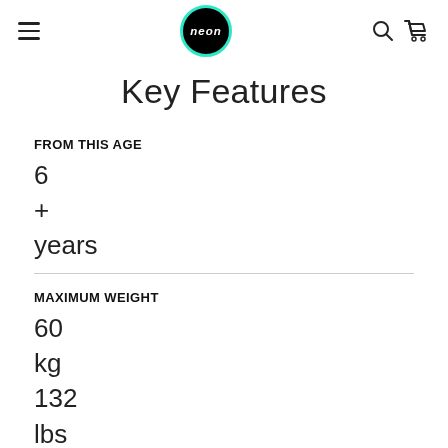neon (logo) — navigation bar with hamburger menu, search, and cart icons
Key Features
FROM THIS AGE
6
+
years
MAXIMUM WEIGHT
60
kg
132
lbs